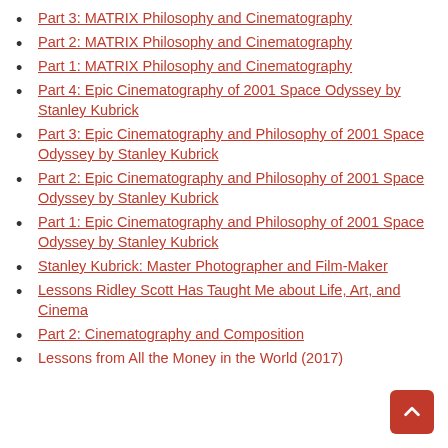Part 3: MATRIX Philosophy and Cinematography
Part 2: MATRIX Philosophy and Cinematography
Part 1: MATRIX Philosophy and Cinematography
Part 4: Epic Cinematography of 2001 Space Odyssey by Stanley Kubrick
Part 3: Epic Cinematography and Philosophy of 2001 Space Odyssey by Stanley Kubrick
Part 2: Epic Cinematography and Philosophy of 2001 Space Odyssey by Stanley Kubrick
Part 1: Epic Cinematography and Philosophy of 2001 Space Odyssey by Stanley Kubrick
Stanley Kubrick: Master Photographer and Film-Maker
Lessons Ridley Scott Has Taught Me about Life, Art, and Cinema
Part 2: Cinematography and Composition
Lessons from All the Money in the World (2017)